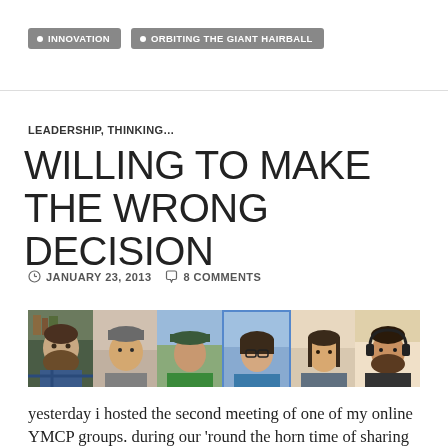INNOVATION
ORBITING THE GIANT HAIRBALL
LEADERSHIP, THINKING...
WILLING TO MAKE THE WRONG DECISION
JANUARY 23, 2013   8 COMMENTS
[Figure (photo): A horizontal strip of six video call participant thumbnails showing people in home/office settings]
yesterday i hosted the second meeting of one of my online YMCP groups. during our 'round the horn time of sharing highs and lows of the past month, as well as reporting on